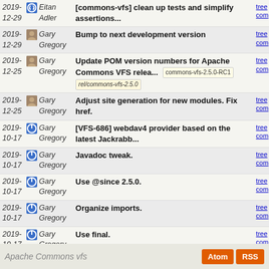| Date | Author | Message | Links |
| --- | --- | --- | --- |
| 2019-12-29 | Eitan Adler | [commons-vfs] clean up tests and simplify assertions... | tree
com |
| 2019-12-29 | Gary Gregory | Bump to next development version | tree
com |
| 2019-12-25 | Gary Gregory | Update POM version numbers for Apache Commons VFS relea... [commons-vfs-2.5.0-RC1] [rel/commons-vfs-2.5.0] | tree
com |
| 2019-12-25 | Gary Gregory | Adjust site generation for new modules. Fix href. | tree
com |
| 2019-10-17 | Gary Gregory | [VFS-686] webdav4 provider based on the latest Jackrabb... | tree
com |
| 2019-10-17 | Gary Gregory | Javadoc tweak. | tree
com |
| 2019-10-17 | Gary Gregory | Use @since 2.5.0. | tree
com |
| 2019-10-17 | Gary Gregory | Organize imports. | tree
com |
| 2019-10-17 | Gary Gregory | Use final. | tree
com |
| 2019-10-17 | Gary Gregory | [VFS-742] Add org.apache.commons.vfs2.FileContent.isEmp... | tree
com |
| 2019-10-17 | Woonsan Ko | VFS-686: webdav4 provider based on the latest Jackrabbi... | tree
com |
Apache Commons vfs   Atom  RSS